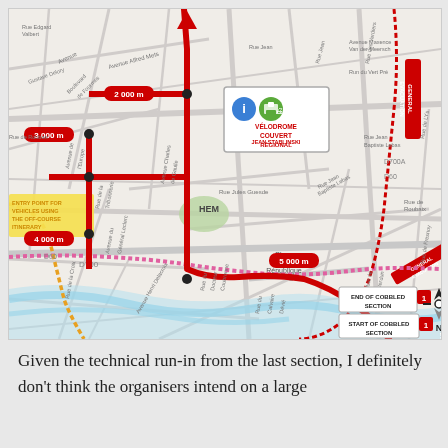[Figure (map): Route map of Paris-Roubaix cycling race showing the final kilometers approaching the Vélodrome Couvert Régional Jean Stablinski. The map shows a red race route with kilometer markers at 2000m, 3000m, 4000m, 5000m. Features include: GENERAL EVACUATION routes (red dashed), an off-course itinerary entry point (orange dotted), a pink/magenta dotted route, road names including D700, D60, D652, D84, streets like Rue Jules Guesde, Avenue Alfred Mets, Place de la République. Labels include START OF COBBLED SECTION 1, END OF COBBLED SECTION 1, HEM district, compass rose pointing North.]
Given the technical run-in from the last section, I definitely don't think the organisers intend on a large